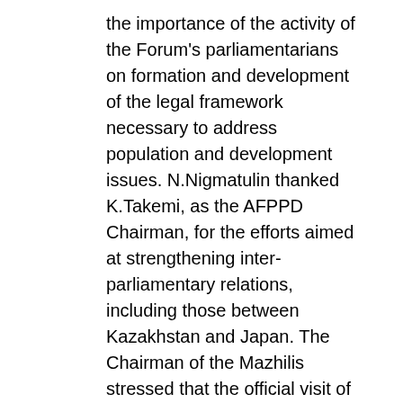the importance of the activity of the Forum's parliamentarians on formation and development of the legal framework necessary to address population and development issues. N.Nigmatulin thanked K.Takemi, as the AFPPD Chairman, for the efforts aimed at strengthening inter-parliamentary relations, including those between Kazakhstan and Japan. The Chairman of the Mazhilis stressed that the official visit of the President of Kazakhstan Nursultan Nazarbayev to Japan in 2016 brought the bilateral cooperation to the level of expanded strategic partnership. Astana and Tokyo have common approaches to nuclear disarmament and non-proliferation, peaceful use of atomic energy and sustainable development. According to Nigmatulin and Takemi, the coincidence of the Kazakhstan and Japan's terms of participation in the UN Security Council in 2017 opens up additional opportunities for cooperation between the two countries. During the conversation, the two parliamentarians expressed concern over the situation surrounding the North Korean nuclear program, noting the growing threat to regional and global security. At the same time